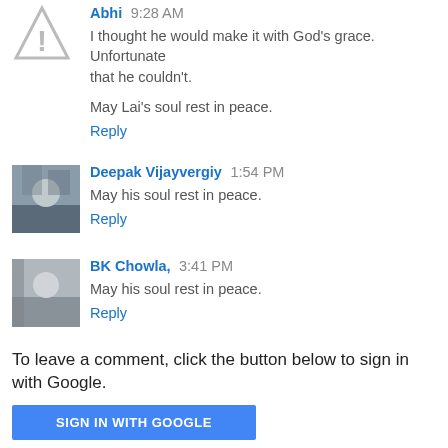[Figure (illustration): Warning triangle icon with exclamation mark]
Abhi 9:28 AM
I thought he would make it with God's grace. Unfortunate that he couldn't.

May Lai's soul rest in peace.
Reply
[Figure (photo): Avatar photo of Deepak Vijayvergiy]
Deepak Vijayvergiy 1:54 PM
May his soul rest in peace.
Reply
[Figure (photo): Avatar photo of BK Chowla]
BK Chowla, 3:41 PM
May his soul rest in peace.
Reply
To leave a comment, click the button below to sign in with Google.
SIGN IN WITH GOOGLE